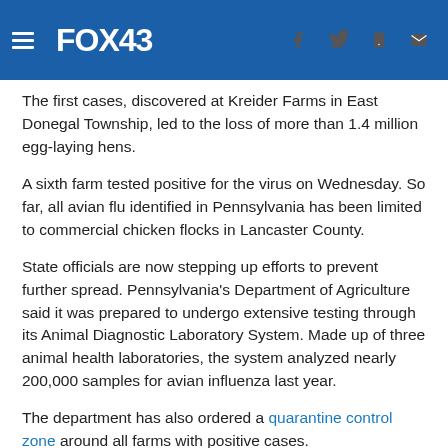FOX43
The first cases, discovered at Kreider Farms in East Donegal Township, led to the loss of more than 1.4 million egg-laying hens.
A sixth farm tested positive for the virus on Wednesday. So far, all avian flu identified in Pennsylvania has been limited to commercial chicken flocks in Lancaster County.
State officials are now stepping up efforts to prevent further spread. Pennsylvania's Department of Agriculture said it was prepared to undergo extensive testing through its Animal Diagnostic Laboratory System. Made up of three animal health laboratories, the system analyzed nearly 200,000 samples for avian influenza last year.
The department has also ordered a quarantine control zone around all farms with positive cases.
“There are tight controls, including rigorous testing, on the transport of any poultry products in a control area that spans